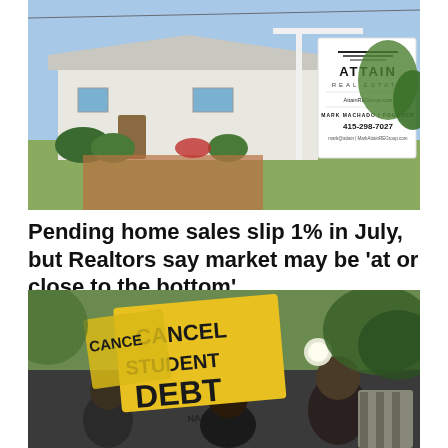[Figure (photo): A suburban single-story house with a real estate sign in the foreground. The sign reads 'ATTAIN REAL ESTATE', 'AttainREGroup.com', 'MARK MACHADO | FOUNDER', '415-298-7027'.]
Pending home sales slip 1% in July, but Realtors say market may be 'at or close to the bottom'
[Figure (photo): Protesters holding yellow signs reading 'CANCEL STUDENT DEBT' with 'NAACP' visible. People standing outdoors with trees in background.]